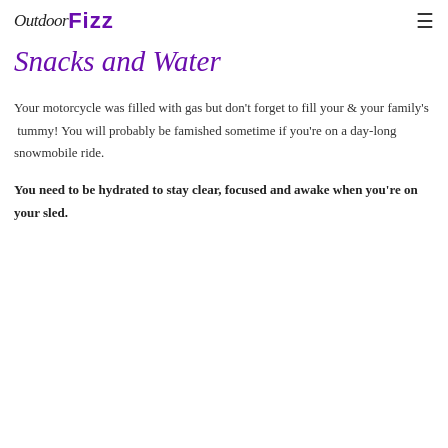OutdoorFizz
Snacks and Water
Your motorcycle was filled with gas but don't forget to fill your & your family's  tummy! You will probably be famished sometime if you're on a day-long snowmobile ride.
You need to be hydrated to stay clear, focused and awake when you're on your sled.